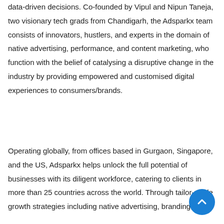data-driven decisions. Co-founded by Vipul and Nipun Taneja, two visionary tech grads from Chandigarh, the Adsparkx team consists of innovators, hustlers, and experts in the domain of native advertising, performance, and content marketing, who function with the belief of catalysing a disruptive change in the industry by providing empowered and customised digital experiences to consumers/brands.
Operating globally, from offices based in Gurgaon, Singapore, and the US, Adsparkx helps unlock the full potential of businesses with its diligent workforce, catering to clients in more than 25 countries across the world. Through tailor-made growth strategies including native advertising, branding,